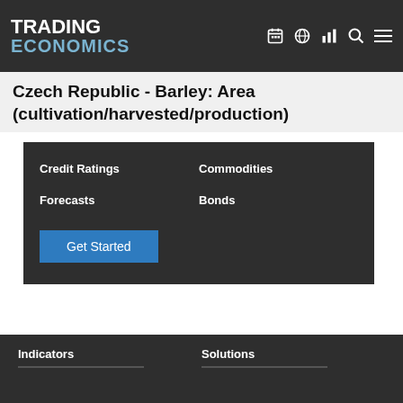TRADING ECONOMICS
Czech Republic - Barley: Area (cultivation/harvested/production)
Credit Ratings
Commodities
Forecasts
Bonds
Get Started
Indicators   Solutions